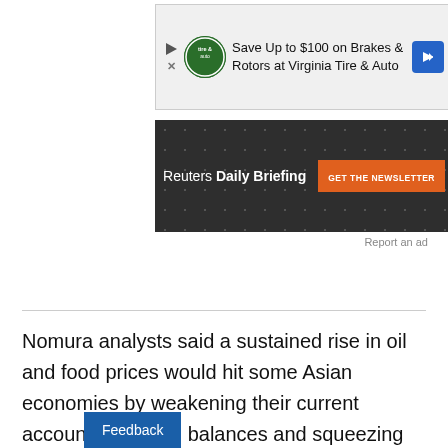[Figure (other): Advertisement banner: Save Up to $100 on Brakes & Rotors at Virginia Tire & Auto, with play icon, Virginia Tire & Auto logo, and blue arrow icon]
[Figure (other): Reuters Daily Briefing newsletter banner with dark spotted background, white text 'Reuters Daily Briefing' and orange 'GET THE NEWSLETTER' button]
Report an ad
Nomura analysts said a sustained rise in oil and food prices would hit some Asian economies by weakening their current account and fiscal balances and squeezing growth, with India, Thailand and the Philippines likely the main losers.